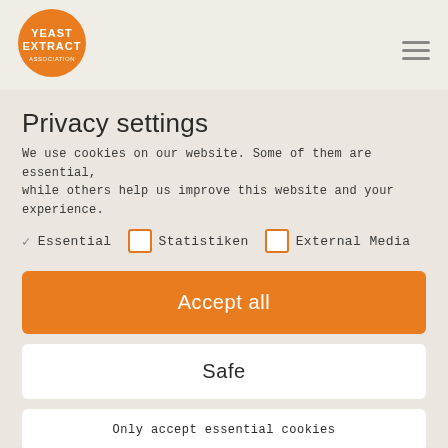[Figure (logo): Orange circle logo with text YEAST EXTRACT]
Privacy settings
We use cookies on our website. Some of them are essential, while others help us improve this website and your experience.
✓ Essential   □ Statistiken   □ External Media
Accept all
Safe
Only accept essential cookies
Individual privacy settings
Cookie-Details | Data protection | Imprint